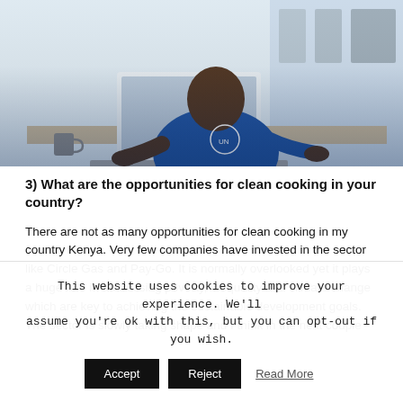[Figure (photo): Person in blue shirt sitting at a desk working on a laptop computer in an office setting]
3) What are the opportunities for clean cooking in your country?
There are not as many opportunities for clean cooking in my country Kenya. Very few companies have invested in the sector like Circle Gas and Pay-Go. It is normally overlooked yet it plays a huge role in addressing poverty, inequality and climate change which are key to achieving the sustainable development goals. The sector is slowly taking shape and I think in the next couple
This website uses cookies to improve your experience. We'll assume you're ok with this, but you can opt-out if you wish.